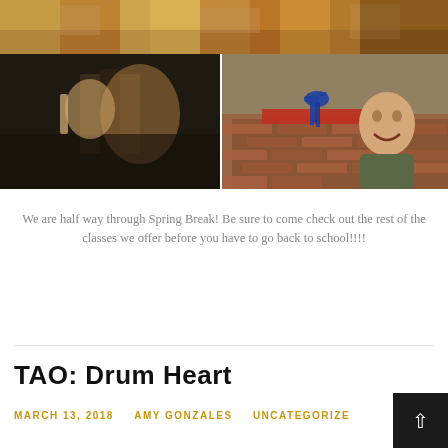[Figure (photo): Top photo: children working on art projects at tables with colorful materials]
[Figure (photo): Bottom-left photo: a child painting or drawing up close, working on a dark frame or easel]
[Figure (photo): Bottom-right photo: a smiling young boy standing in front of a brick wall with a blue 3D-printed dinosaur sculpture on a red surface behind him]
We are half way through Spring Break! Be sure to come check out the rest of the classes we offer before you have to go back to school!!!!
TAO: Drum Heart
MARCH 13, 2018    AMY GONZALES    UNCATEGORIZE